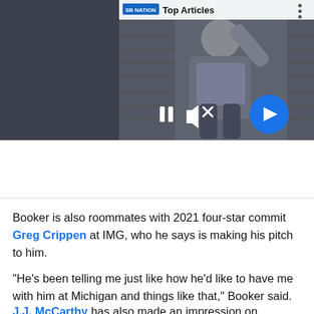[Figure (screenshot): Video thumbnail showing a person in motion (sliding), with SBNation 'Top Articles' header bar, pause and mute controls, and a blue circular next-arrow button. Below the thumbnail is a headline with blue left border bar.]
Dodgers reporter David Vassegh broke his hand and ribs going down Brewers' slide
Booker is also roommates with 2021 four-star commit Greg Crippen at IMG, who he says is making his pitch to him.
“He’s been telling me just like how he’d like to have me with him at Michigan and things like that,” Booker said.
J.J. McCarthy has also made an impression on